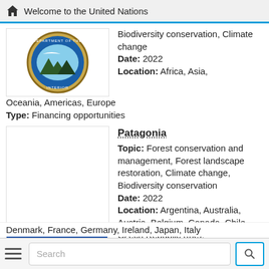Welcome to the United Nations
[Figure (logo): US Department of the Interior circular seal logo]
Biodiversity conservation, Climate change
Date: 2022
Location: Africa, Asia, Oceania, Americas, Europe
Type: Financing opportunities
[Figure (logo): Patagonia brand logo with mountain silhouette and colorful sky]
Patagonia
Topic: Forest conservation and management, Forest landscape restoration, Climate change, Biodiversity conservation
Date: 2022
Location: Argentina, Australia, Austria, Belgium, Canada, Chile, Czech Republic (the), Denmark, France, Germany, Ireland, Japan, Italy
Denmark, France, Germany, Ireland, Japan, Italy
Search